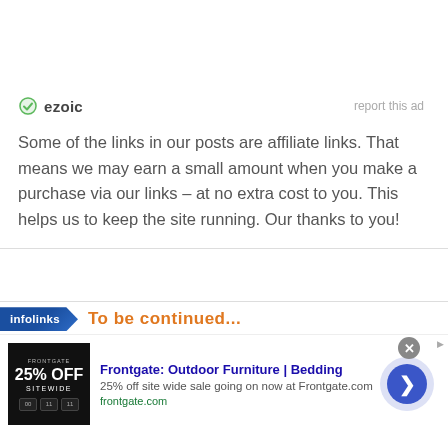[Figure (logo): Ezoic logo with green circular icon and 'ezoic' text, with 'report this ad' link on the right]
Some of the links in our posts are affiliate links. That means we may earn a small amount when you make a purchase via our links – at no extra cost to you. This helps us to keep the site running. Our thanks to you!
[Figure (infographic): Infolinks banner with orange partially visible text below]
[Figure (infographic): Frontgate ad banner: Frontgate: Outdoor Furniture | Bedding. 25% off site wide sale going on now at Frontgate.com. frontgate.com]